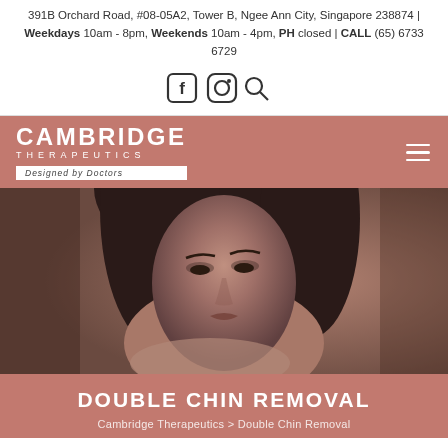391B Orchard Road, #08-05A2, Tower B, Ngee Ann City, Singapore 238874 | Weekdays 10am - 8pm, Weekends 10am - 4pm, PH closed | CALL (65) 6733 6729
[Figure (logo): Social media icons: Facebook, Instagram, Search]
[Figure (logo): Cambridge Therapeutics logo with 'Designed by Doctors' tagline on rose-colored navigation bar with hamburger menu icon]
[Figure (photo): Black and white photo of a young woman with dark hair resting her chin on her hands, looking directly at the camera]
DOUBLE CHIN REMOVAL
Cambridge Therapeutics > Double Chin Removal